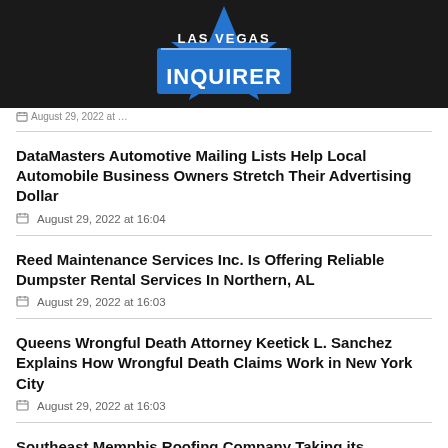[Figure (logo): Las Vegas Inquirer logo — blue star with white text on dark background]
August 29, 2022 at …
DataMasters Automotive Mailing Lists Help Local Automobile Business Owners Stretch Their Advertising Dollar
August 29, 2022 at 16:04
Reed Maintenance Services Inc. Is Offering Reliable Dumpster Rental Services In Northern, AL
August 29, 2022 at 16:03
Queens Wrongful Death Attorney Keetick L. Sanchez Explains How Wrongful Death Claims Work in New York City
August 29, 2022 at 16:03
Southeast Memphis Roofing Company Taking its